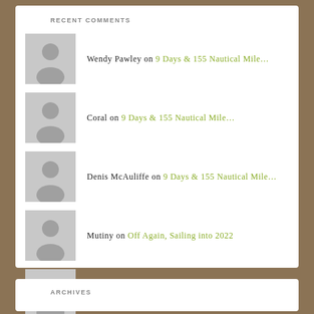RECENT COMMENTS
Wendy Pawley on 9 Days & 155 Nautical Mile...
Coral on 9 Days & 155 Nautical Mile...
Denis McAuliffe on 9 Days & 155 Nautical Mile...
Mutiny on Off Again, Sailing into 2022
Colleen Jackson on Off Again, Sailing into 2022
ARCHIVES